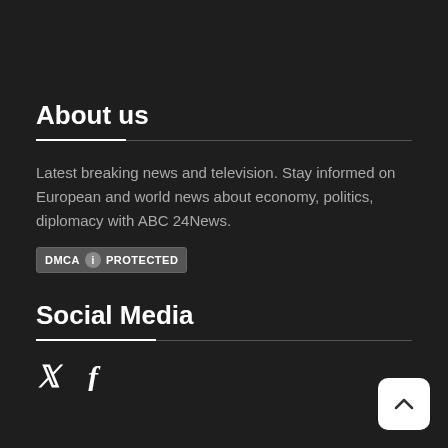About us
Latest breaking news and television. Stay informed on European and world news about economy, politics, diplomacy with ABC 24News.
[Figure (logo): DMCA Protected badge with icon]
Social Media
[Figure (other): Twitter and Facebook social media icons]
[Figure (other): Back to top button with upward chevron arrow]